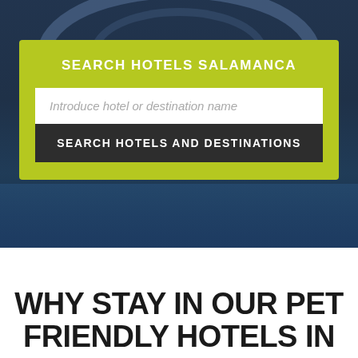[Figure (photo): Background photograph of a bridge with arched structure over water, dark blue-gray tones]
SEARCH HOTELS SALAMANCA
Introduce hotel or destination name
SEARCH HOTELS AND DESTINATIONS
WHY STAY IN OUR PET FRIENDLY HOTELS IN